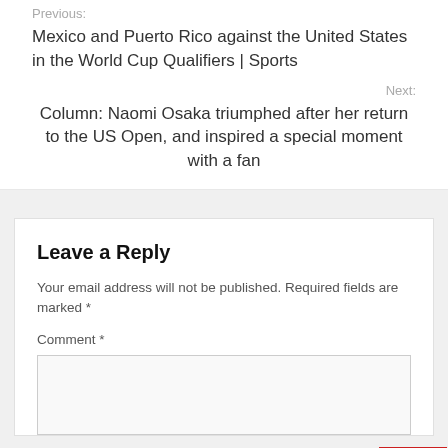Previous:
Mexico and Puerto Rico against the United States in the World Cup Qualifiers | Sports
Next:
Column: Naomi Osaka triumphed after her return to the US Open, and inspired a special moment with a fan
Leave a Reply
Your email address will not be published. Required fields are marked *
Comment *